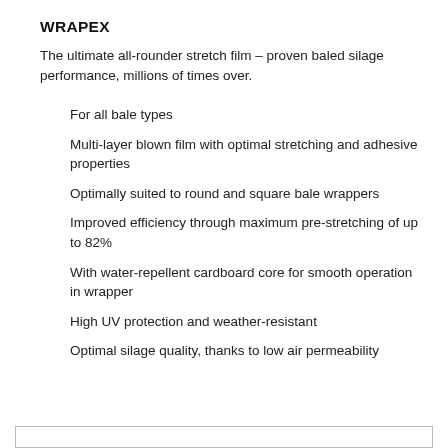WRAPEX
The ultimate all-rounder stretch film – proven baled silage performance, millions of times over.
For all bale types
Multi-layer blown film with optimal stretching and adhesive properties
Optimally suited to round and square bale wrappers
Improved efficiency through maximum pre-stretching of up to 82%
With water-repellent cardboard core for smooth operation in wrapper
High UV protection and weather-resistant
Optimal silage quality, thanks to low air permeability